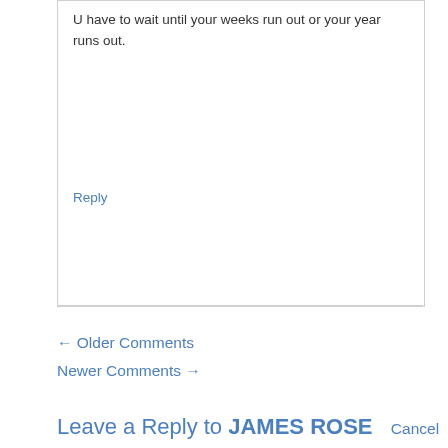U have to wait until your weeks run out or your year runs out.
Reply
← Older Comments
Newer Comments →
Leave a Reply to JAMES ROSE   Cancel reply
[Figure (other): Empty comment text area input box with light gray background]